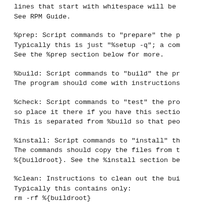lines that start with whitespace will be
See RPM Guide.
%prep: Script commands to "prepare" the p
Typically this is just "%setup -q"; a com
See the %prep section below for more.
%build: Script commands to "build" the pr
The program should come with instructions
%check: Script commands to "test" the pro
so place it there if you have this sectio
This is separated from %build so that peo
%install: Script commands to "install" th
The commands should copy the files from t
%{buildroot}. See the %install section be
%clean: Instructions to clean out the bui
Typically this contains only:
rm -rf %{buildroot}